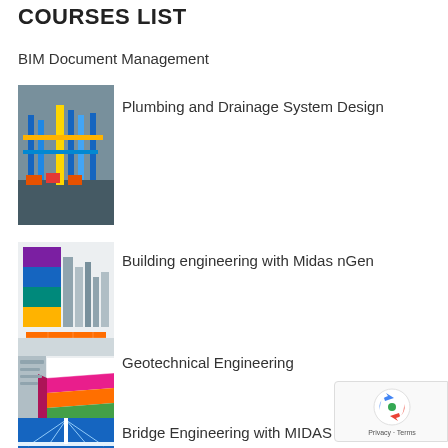COURSES LIST
BIM Document Management
[Figure (photo): Industrial plumbing and pipe system 3D render with blue, yellow, and orange pipes]
Plumbing and Drainage System Design
[Figure (photo): Structural 3D analysis model showing colorful heat map on tall building and layered foundation block]
Building engineering with Midas nGen
[Figure (photo): Geotechnical engineering software screenshot with 3D soil layer visualization in multiple colors]
Geotechnical Engineering
[Figure (photo): Bridge structure with cable stays, blue tones, aerial view]
Bridge Engineering with MIDAS